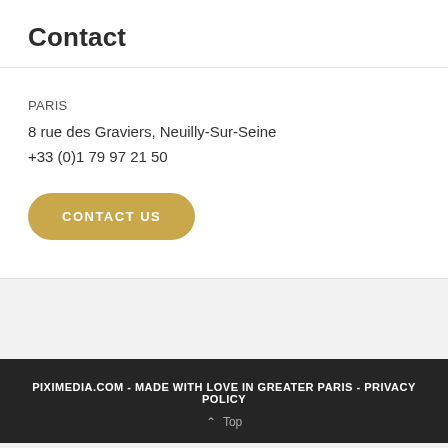Contact
PARIS
8 rue des Graviers, Neuilly-Sur-Seine
+33 (0)1 79 97 21 50
CONTACT US
PIXIMEDIA.COM - MADE WITH LOVE IN GREATER PARIS - PRIVACY POLICY
^ Top